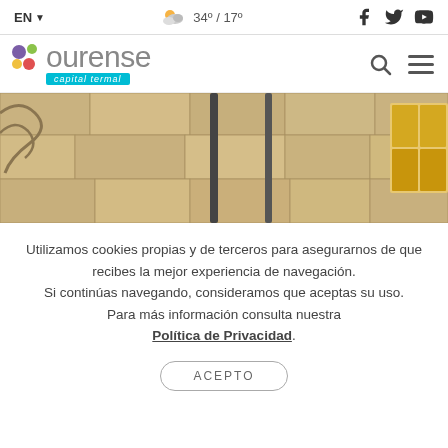EN  34º / 17º  [social icons: Facebook, Twitter, YouTube]
[Figure (logo): Ourense capital termal logo with colorful dots and cyan subtitle bar]
[Figure (photo): Photo of stone building facade with a dark drainpipe running vertically down the wall]
Utilizamos cookies propias y de terceros para asegurarnos de que recibes la mejor experiencia de navegación. Si continúas navegando, consideramos que aceptas su uso. Para más información consulta nuestra Política de Privacidad.
ACEPTO